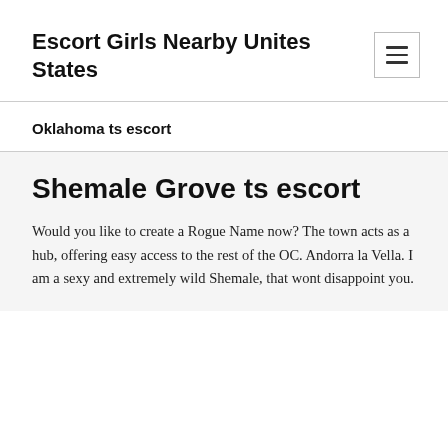Escort Girls Nearby Unites States
Oklahoma ts escort
Shemale Grove ts escort
Would you like to create a Rogue Name now? The town acts as a hub, offering easy access to the rest of the OC. Andorra la Vella. I am a sexy and extremely wild Shemale, that wont disappoint you.